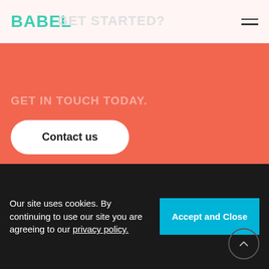BABEL
READY TO GET STARTED?
GET IN TOUCH TODAY.
Contact us
[Figure (illustration): Location pin icon inside a light pink circle on coral background]
London HQ
Our site uses cookies. By continuing to use our site you are agreeing to our privacy policy.
Accept and Close